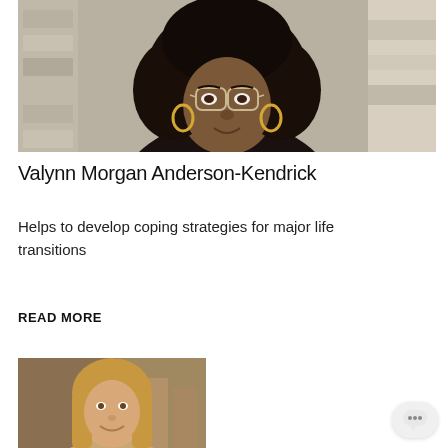[Figure (photo): Portrait photo of Valynn Morgan Anderson-Kendrick, a Black woman with large natural afro hair, gold hoop earrings, and glasses, smiling outdoors against a stone background.]
Valynn Morgan Anderson-Kendrick
Helps to develop coping strategies for major life transitions
READ MORE
[Figure (photo): Portrait photo of a white woman with long blonde hair, smiling, outdoors with a warm background.]